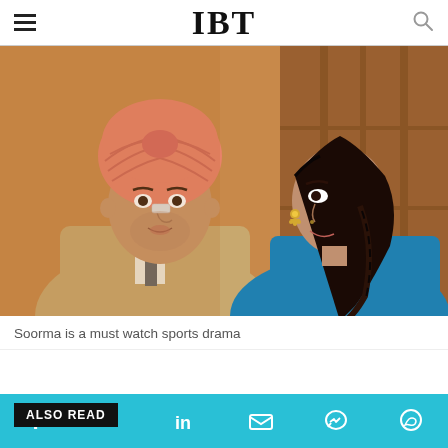IBT
[Figure (photo): Man wearing a pink/salmon turban in a beige suit with a bandage on his nose facing a woman with dark braided hair wearing traditional jewelry and a blue outfit, in a romantic close-face scene. Scene from the Bollywood sports drama film Soorma.]
Soorma is a must watch sports drama
ALSO READ
Social share icons: Facebook, Twitter, LinkedIn, Email, Messenger, WhatsApp